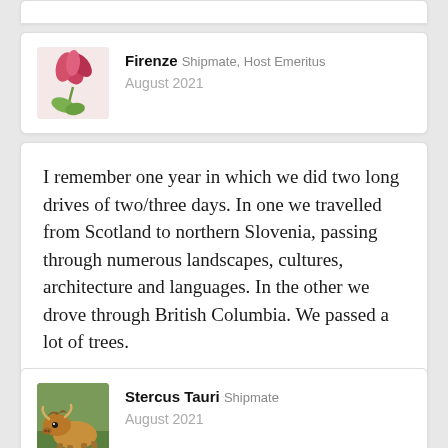Firenze Shipmate, Host Emeritus
August 2021
I remember one year in which we did two long drives of two/three days. In one we travelled from Scotland to northern Slovenia, passing through numerous landscapes, cultures, architecture and languages. In the other we drove through British Columbia. We passed a lot of trees.
Stercus Tauri Shipmate
August 2021